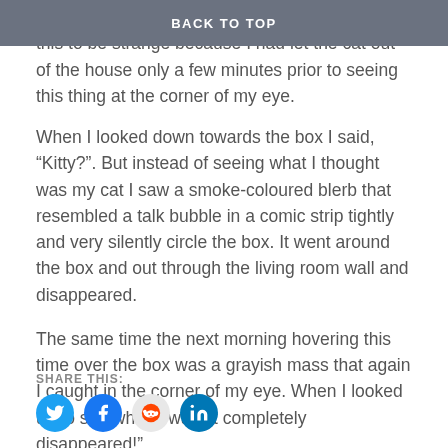BACK TO TOP
where I had placed this cardboard box. I thought this to be strange because I had let the cat out of the house only a few minutes prior to seeing this thing at the corner of my eye.
When I looked down towards the box I said, “Kitty?”. But instead of seeing what I thought was my cat I saw a smoke-coloured blerb that resembled a talk bubble in a comic strip tightly and very silently circle the box. It went around the box and out through the living room wall and disappeared.
The same time the next morning hovering this time over the box was a grayish mass that again I caught in the corner of my eye. When I looked up to see what it was, it completely disappeared!”
SHARE THIS: